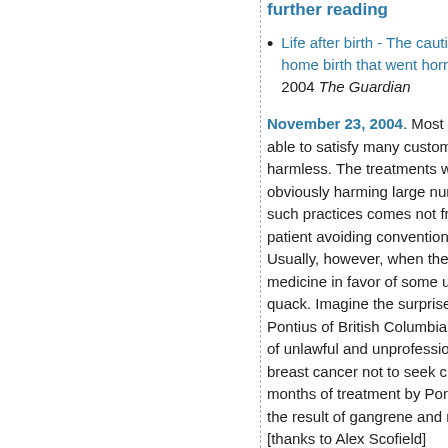further reading
Life after birth - The cautiona… home birth that went horribly… 2004 The Guardian
November 23, 2004. Most "a… able to satisfy many custome… harmless. The treatments wo… obviously harming large num… such practices comes not fro… patient avoiding conventiona… Usually, however, when the p… medicine in favor of some un… quack. Imagine the surprise … Pontius of British Columbia w… of unlawful and unprofession… breast cancer not to seek ch… months of treatment by Ponti… the result of gangrene and m… [thanks to Alex Scofield]
November 13, 2004. Nicole…